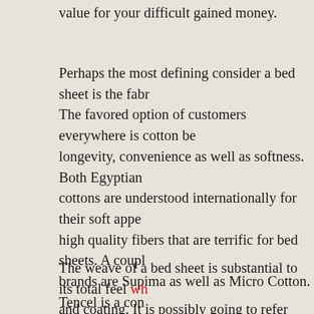value for your difficult gained money.
Perhaps the most defining consider a bed sheet is the fabr... The favored option of customers everywhere is cotton be... longevity, convenience as well as softness. Both Egyptian ... cottons are understood internationally for their soft appe... high quality fibers that are terrific for bed sheets. A coup... brands are Supima as well as Micro Cotton. Tencel is a con... fiber that has high qualities comparable to cotton as well ... wetness management and resistivity to growth of bacteria... Silk, representing the marriage of high-end and also high... satin, known for its sensual appearance, are popular opti... ought to bear your demands in mind as well as make the ... product based on the information supplied above while p... bed linens.
The weave of a bed sheet is substantial to its total feel wh... and coating. It is possibly going to refer individual prefer... type of weave has its very own one-of-a-kind advantages...